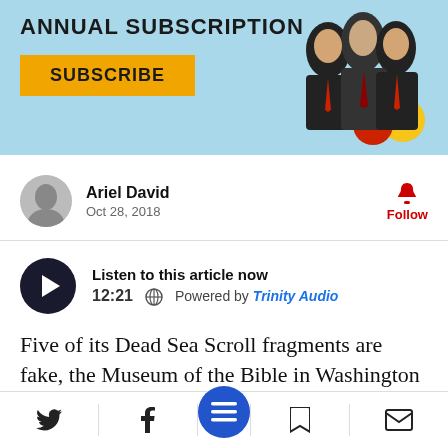[Figure (infographic): Light blue subscription banner with ANNUAL SUBSCRIPTION text, a yellow SUBSCRIBE button, and political figures illustration on the right with red and yellow circles]
Ariel David
Oct 28, 2018
Follow
Listen to this article now
12:21   Powered by Trinity Audio
Five of its Dead Sea Scroll fragments are fake, the Museum of the Bible in Washington was forced to admit last week. The embarrassed institution may be in good company: Out of at least 70 fragments ostensibly from the Scrolls
Social share icons: Twitter, Facebook, hamburger menu, bookmark, email